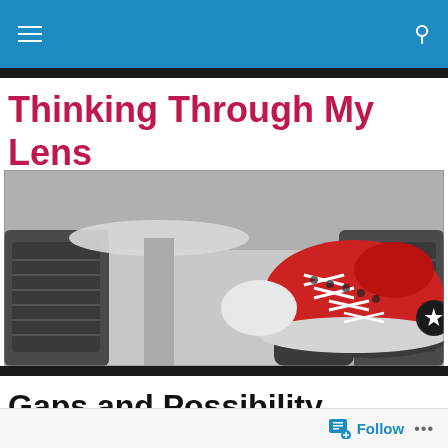Thinking Through My Lens — navigation bar with hamburger menu and search icon
Thinking Through My Lens
[Figure (photo): Black and white photo with selective color: person's legs crossed, wearing bright red Converse sneakers, seated in a lounge chair area with side tables visible]
Gaps and Possibility
Follow  •••